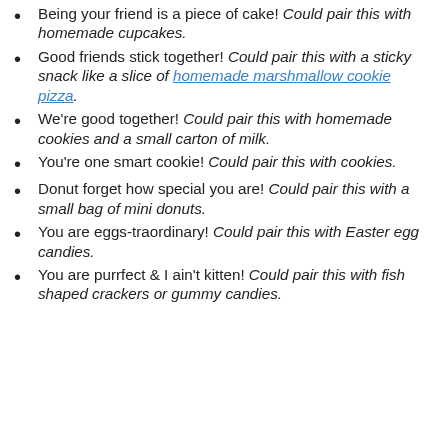Being your friend is a piece of cake! Could pair this with homemade cupcakes.
Good friends stick together! Could pair this with a sticky snack like a slice of homemade marshmallow cookie pizza.
We're good together! Could pair this with homemade cookies and a small carton of milk.
You're one smart cookie! Could pair this with cookies.
Donut forget how special you are! Could pair this with a small bag of mini donuts.
You are eggs-traordinary! Could pair this with Easter egg candies.
You are purrfect & I ain't kitten! Could pair this with fish shaped crackers or gummy candies.